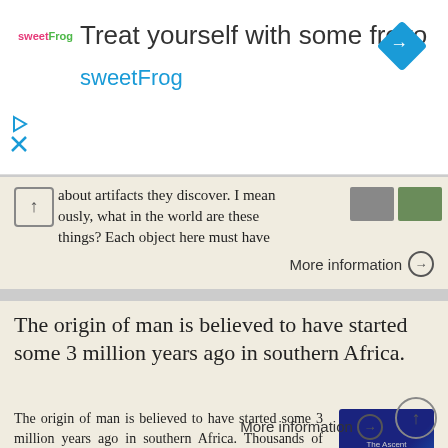[Figure (other): sweetFrog frozen yogurt advertisement banner with logo, headline 'Treat yourself with some froyo sweetFrog', navigation diamond icon, play and close icons]
about artifacts they discover. I mean ously, what in the world are these things? Each object here must have
More information →
The origin of man is believed to have started some 3 million years ago in southern Africa.
The origin of man is believed to have started some 3 million years ago in southern Africa. Thousands of years ago Human migratory patterns can be traced back almost 200,000 years by using bones, tools
[Figure (photo): Dark blue book cover with text 'The Ascent of Being']
More information →